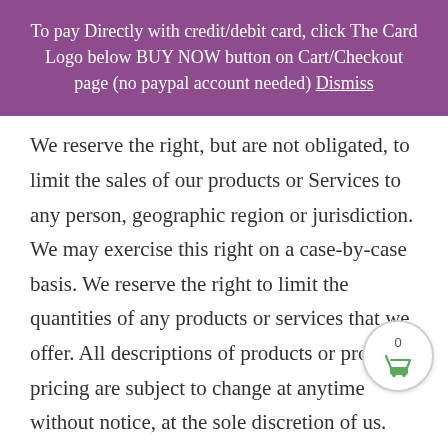To pay Directly with credit/debit card, click The Card Logo below BUY NOW button on Cart/Checkout page (no paypal account needed) Dismiss
We reserve the right, but are not obligated, to limit the sales of our products or Services to any person, geographic region or jurisdiction. We may exercise this right on a case-by-case basis. We reserve the right to limit the quantities of any products or services that we offer. All descriptions of products or product pricing are subject to change at anytime without notice, at the sole discretion of us. We reserve the right to discontinue any product at any time. Any offer for any product or service made on this site is void where prohibited.
We do not warrant that the quality of any products, services, information, or other material purchased or